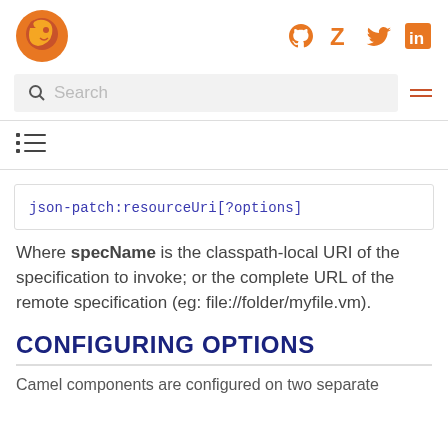Logo and social icons (GitHub, Zotero, Twitter, LinkedIn)
Search
[Figure (other): Table of contents icon (list icon with horizontal lines)]
Where specName is the classpath-local URI of the specification to invoke; or the complete URL of the remote specification (eg: file://folder/myfile.vm).
CONFIGURING OPTIONS
Camel components are configured on two separate